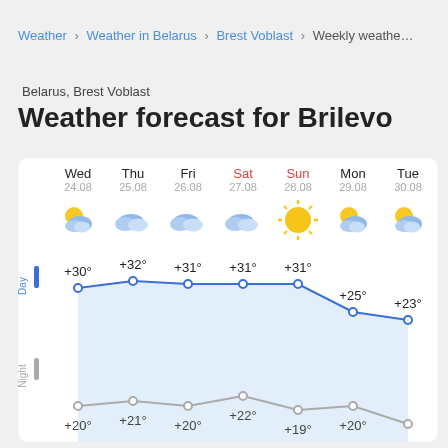Weather > Weather in Belarus > Brest Voblast > Weekly weather
Belarus, Brest Voblast
Weather forecast for Brilevo
[Figure (line-chart): Weekly weather forecast]